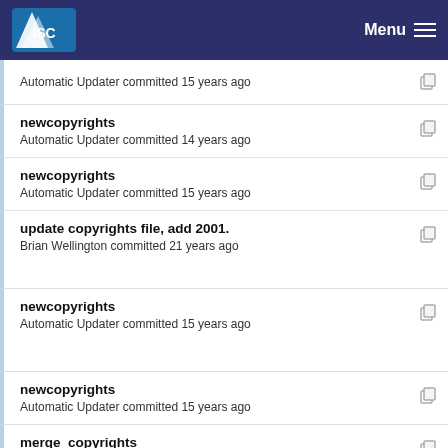ISC Menu
Automatic Updater committed 15 years ago
newcopyrights
Automatic Updater committed 14 years ago
newcopyrights
Automatic Updater committed 15 years ago
update copyrights file, add 2001.
Brian Wellington committed 21 years ago
newcopyrights
Automatic Updater committed 15 years ago
newcopyrights
Automatic Updater committed 15 years ago
merge_copyrights